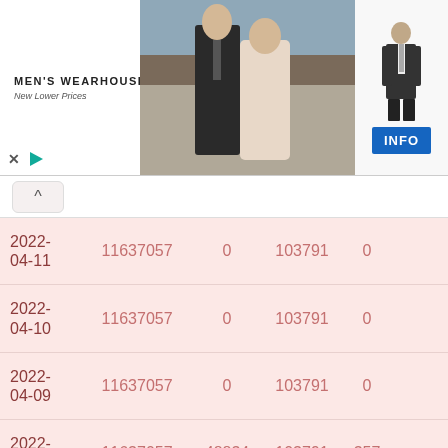[Figure (photo): Men's Wearhouse advertisement banner showing a couple in formal wear, a man in a suit figure, and an INFO button]
| Date | Col1 | Col2 | Col3 | Col4 |
| --- | --- | --- | --- | --- |
| 2022-04-11 | 11637057 | 0 | 103791 | 0 |
| 2022-04-10 | 11637057 | 0 | 103791 | 0 |
| 2022-04-09 | 11637057 | 0 | 103791 | 0 |
| 2022-04-08 | 11637057 | 48834 | 103791 | 357 |
| 2022-04-07 | 11588223 | 0 | 103434 | 0 |